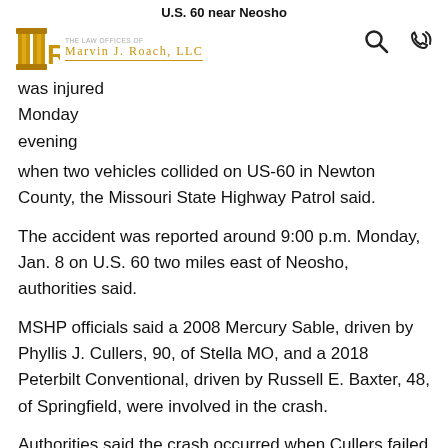U.S. 60 near Neosho
[Figure (logo): The Law Offices of Marvin J. Roach LLC logo with gold/amber column icon and text]
was injured Monday evening when two vehicles collided on US-60 in Newton County, the Missouri State Highway Patrol said.
The accident was reported around 9:00 p.m. Monday, Jan. 8 on U.S. 60 two miles east of Neosho, authorities said.
MSHP officials said a 2008 Mercury Sable, driven by Phyllis J. Cullers, 90, of Stella MO, and a 2018 Peterbilt Conventional, driven by Russell E. Baxter, 48, of Springfield, were involved in the crash.
Authorities said the crash occurred when Cullers failed